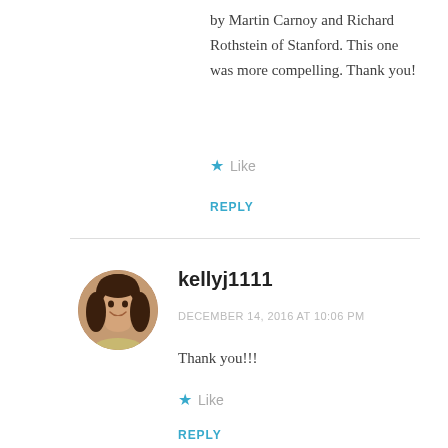by Martin Carnoy and Richard Rothstein of Stanford. This one was more compelling. Thank you!
Like
REPLY
kellyj1111
DECEMBER 14, 2016 AT 10:06 PM
Thank you!!!
Like
REPLY